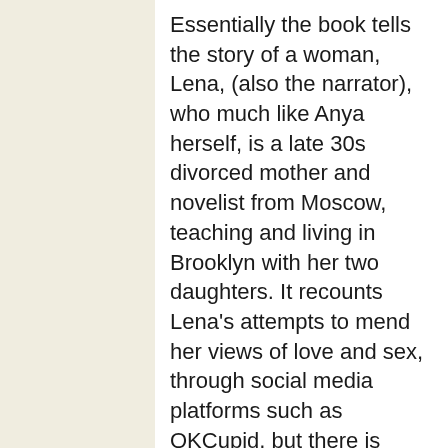Essentially the book tells the story of a woman, Lena, (also the narrator), who much like Anya herself, is a late 30s divorced mother and novelist from Moscow, teaching and living in Brooklyn with her two daughters. It recounts Lena’s attempts to mend her views of love and sex, through social media platforms such as OKCupid, but there is much more complexity to the plot that Ulinich had in mind. The